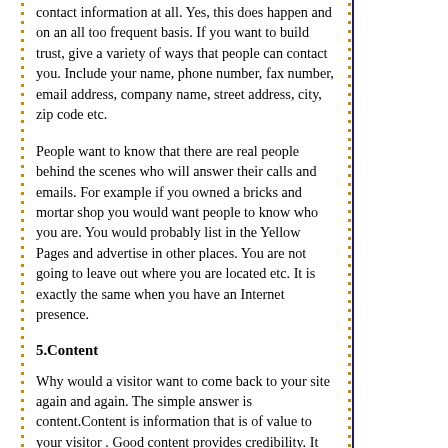contact information at all. Yes, this does happen and on an all too frequent basis. If you want to build trust, give a variety of ways that people can contact you. Include your name, phone number, fax number, email address, company name, street address, city, zip code etc.
People want to know that there are real people behind the scenes who will answer their calls and emails. For example if you owned a bricks and mortar shop you would want people to know who you are. You would probably list in the Yellow Pages and advertise in other places. You are not going to leave out where you are located etc. It is exactly the same when you have an Internet presence.
5.Content
Why would a visitor want to come back to your site again and again. The simple answer is content.Content is information that is of value to your visitor . Good content provides credibility. It establishes you as an expert. Try and stand out from then norm. If the content